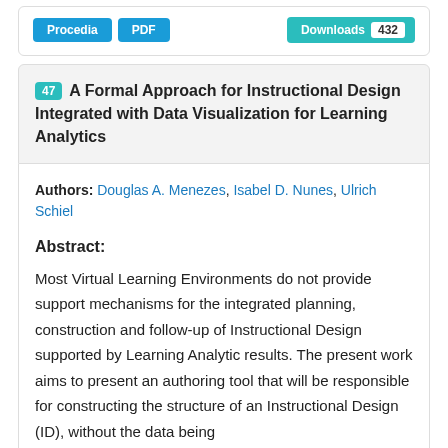[Figure (other): Top bar with Procedia and PDF buttons on the left, and Downloads 432 button on the right]
47 A Formal Approach for Instructional Design Integrated with Data Visualization for Learning Analytics
Authors: Douglas A. Menezes, Isabel D. Nunes, Ulrich Schiel
Abstract:
Most Virtual Learning Environments do not provide support mechanisms for the integrated planning, construction and follow-up of Instructional Design supported by Learning Analytic results. The present work aims to present an authoring tool that will be responsible for constructing the structure of an Instructional Design (ID), without the data being